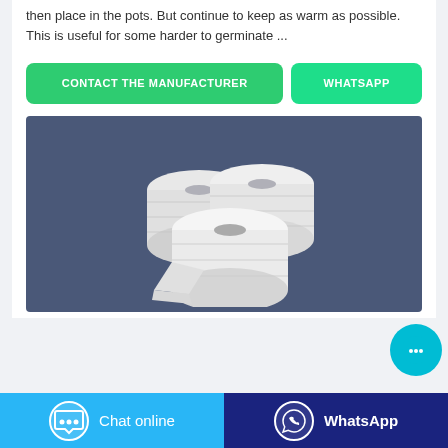then place in the pots. But continue to keep as warm as possible. This is useful for some harder to germinate ...
CONTACT THE MANUFACTURER | WHATSAPP
[Figure (photo): Product image showing three rolls of white toilet paper/tissue rolls stacked together on a dark slate-blue background]
Chat online | WhatsApp